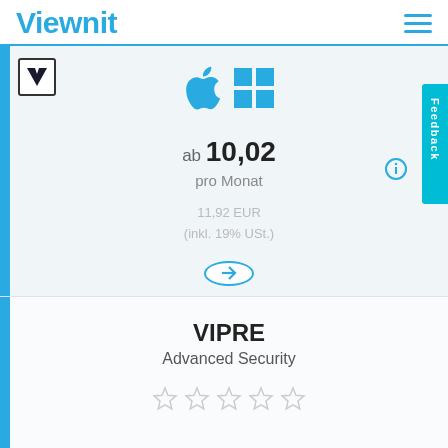Viewnit
[Figure (screenshot): Viewnit website screenshot showing a software product listing page with Apple and Windows platform icons, pricing information, and a VIPRE Advanced Security product card below]
ab 10,02 pro Monat
11,92 EUR (inkl. 19% USt.)
VIPRE
Advanced Security